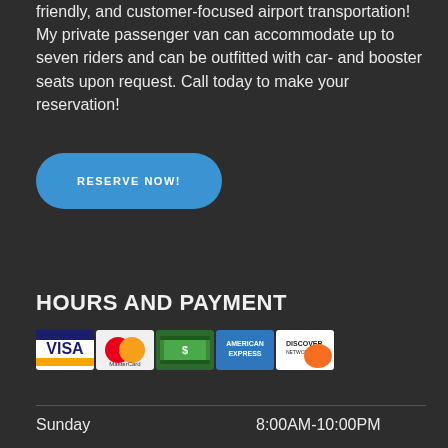friendly, and customer-focused airport transportation! My private passenger van can accommodate up to seven riders and can be outfitted with car- and booster seats upon request. Call today to make your reservation!
[Figure (other): Blue rounded rectangle button with white uppercase text 'RESERVE NOW!']
HOURS AND PAYMENT
[Figure (other): Payment method icons: Visa, MasterCard, Cash, American Express, Discover Network]
Sunday    8:00AM-10:00PM